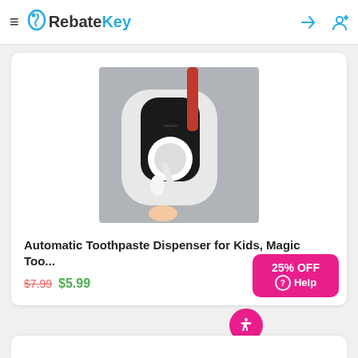RebateKey
[Figure (photo): Automatic toothpaste dispenser wall-mounted device in white and black, with a toothbrush being loaded with toothpaste. A red item visible in the top background.]
Automatic Toothpaste Dispenser for Kids, Magic Too...
$7.99 $5.99
25% OFF Help